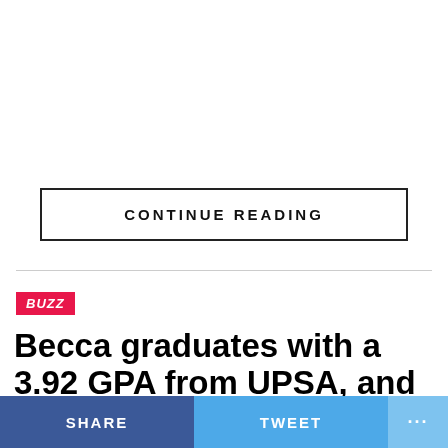CONTINUE READING
BUZZ
Becca graduates with a 3.92 GPA from UPSA, and is the Valedictorian of the graduating class
SHARE   TWEET   ...